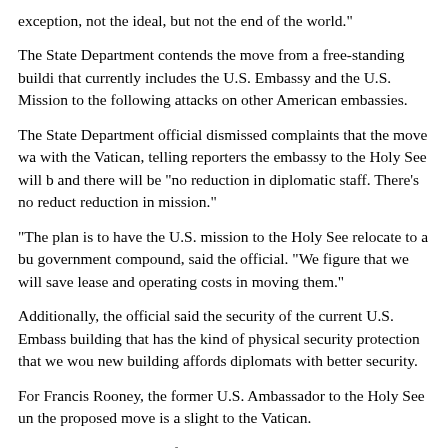exception, not the ideal, but not the end of the world."
The State Department contends the move from a free-standing building that currently includes the U.S. Embassy and the U.S. Mission to the following attacks on other American embassies.
The State Department official dismissed complaints that the move was with the Vatican, telling reporters the embassy to the Holy See will b and there will be "no reduction in diplomatic staff. There's no reduction in mission."
"The plan is to have the U.S. mission to the Holy See relocate to a bu government compound, said the official. "We figure that we will save lease and operating costs in moving them."
Additionally, the official said the security of the current U.S. Embassy building that has the kind of physical security protection that we wou new building affords diplomats with better security.
For Francis Rooney, the former U.S. Ambassador to the Holy See un the proposed move is a slight to the Vatican.
Rooney told CNN that a freestanding, separate embassy shows more that he worries the move will create "a perception among foreign gov that the United States does not value its relationship with the Holy Se